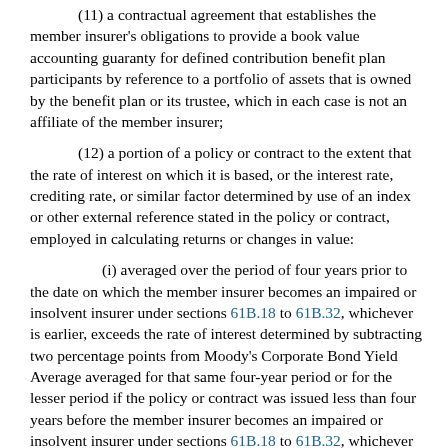(11) a contractual agreement that establishes the member insurer's obligations to provide a book value accounting guaranty for defined contribution benefit plan participants by reference to a portfolio of assets that is owned by the benefit plan or its trustee, which in each case is not an affiliate of the member insurer;
(12) a portion of a policy or contract to the extent that the rate of interest on which it is based, or the interest rate, crediting rate, or similar factor determined by use of an index or other external reference stated in the policy or contract, employed in calculating returns or changes in value:
(i) averaged over the period of four years prior to the date on which the member insurer becomes an impaired or insolvent insurer under sections 61B.18 to 61B.32, whichever is earlier, exceeds the rate of interest determined by subtracting two percentage points from Moody's Corporate Bond Yield Average averaged for that same four-year period or for the lesser period if the policy or contract was issued less than four years before the member insurer becomes an impaired or insolvent insurer under sections 61B.18 to 61B.32, whichever is earlier; and